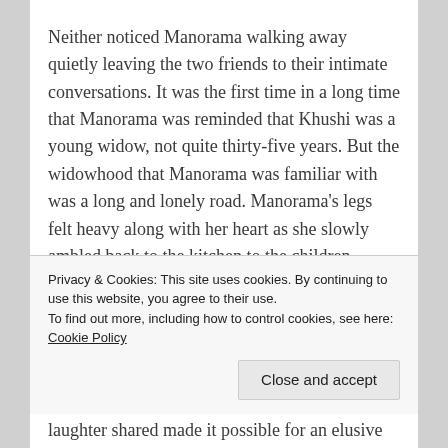Neither noticed Manorama walking away quietly leaving the two friends to their intimate conversations. It was the first time in a long time that Manorama was reminded that Khushi was a young widow, not quite thirty-five years. But the widowhood that Manorama was familiar with was a long and lonely road. Manorama’s legs felt heavy along with her heart as she slowly ambled back to the kitchen to the children.
Privacy & Cookies: This site uses cookies. By continuing to use this website, you agree to their use.
To find out more, including how to control cookies, see here: Cookie Policy
laughter shared made it possible for an elusive